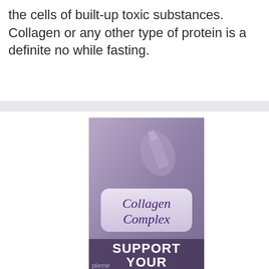the cells of built-up toxic substances. Collagen or any other type of protein is a definite no while fasting.
[Figure (illustration): Advertisement for Collagen Complex supplement product. Purple/mauve toned image showing supplement bottle in background, with a rounded rectangle label displaying 'Collagen Complex' in script font, and bold white text reading 'SUPPORT YOUR' with partial text 'pleme...' visible at bottom edge.]